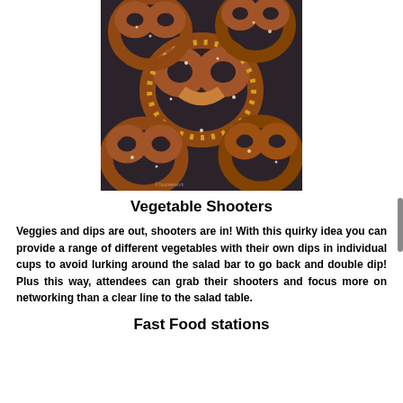[Figure (photo): Close-up photo of multiple golden-brown soft pretzels with coarse salt, arranged on a dark surface]
Vegetable Shooters
Veggies and dips are out, shooters are in! With this quirky idea you can provide a range of different vegetables with their own dips in individual cups to avoid lurking around the salad bar to go back and double dip! Plus this way, attendees can grab their shooters and focus more on networking than a clear line to the salad table.
Fast Food stations